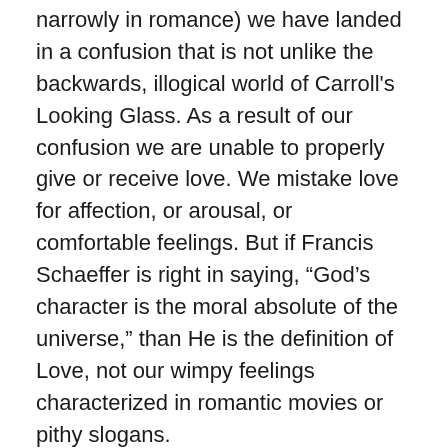narrowly in romance) we have landed in a confusion that is not unlike the backwards, illogical world of Carroll's Looking Glass. As a result of our confusion we are unable to properly give or receive love. We mistake love for affection, or arousal, or comfortable feelings. But if Francis Schaeffer is right in saying, “God’s character is the moral absolute of the universe,” than He is the definition of Love, not our wimpy feelings characterized in romantic movies or pithy slogans.
What do we know of Love then?
This is love: not that we loved God, but that he loved us and sent his Son as an atoning sacrifice for our sins. 1 John 4:10
Love then is not about how we feel, it is not about us at all. Love is active, self-giving, sacrificial to the point of death